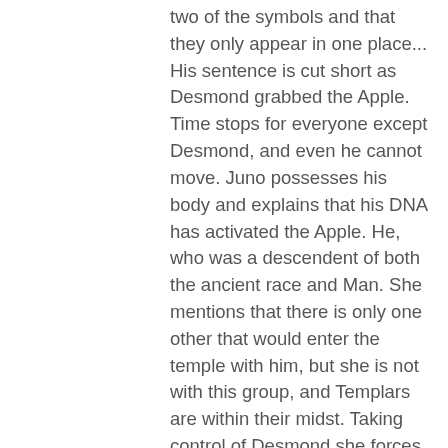two of the symbols and that they only appear in one place... His sentence is cut short as Desmond grabbed the Apple. Time stops for everyone except Desmond, and even he cannot move. Juno possesses his body and explains that his DNA has activated the Apple. He, who was a descendent of both the ancient race and Man. She mentions that there is only one other that would enter the temple with him, but she is not with this group, and Templars are within their midst. Taking control of Desmond she forces him to stab Lucy in the chest for Lucy was a double agent working for the Templars. The pair collapses to the ground, Lucy bleeding out and Desmond going into shock. Voices can be heard of